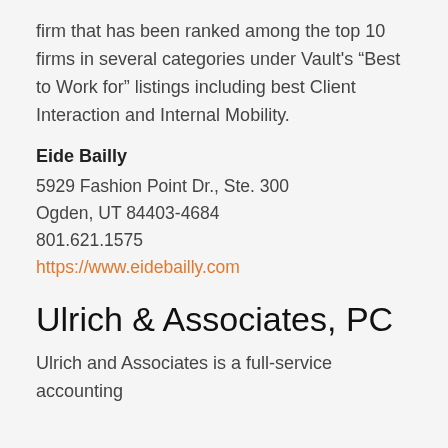firm that has been ranked among the top 10 firms in several categories under Vault's “Best to Work for” listings including best Client Interaction and Internal Mobility.
Eide Bailly
5929 Fashion Point Dr., Ste. 300
Ogden, UT 84403-4684
801.621.1575
https://www.eidebailly.com
Ulrich & Associates, PC
Ulrich and Associates is a full-service accounting